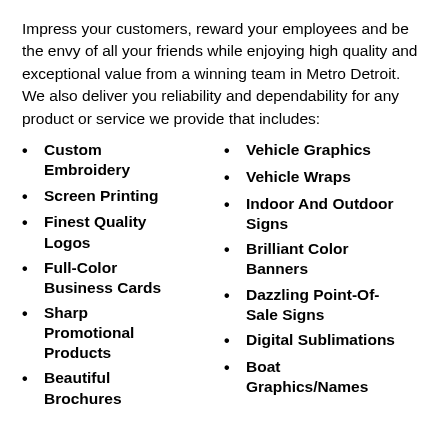Impress your customers, reward your employees and be the envy of all your friends while enjoying high quality and exceptional value from a winning team in Metro Detroit. We also deliver you reliability and dependability for any product or service we provide that includes:
Custom Embroidery
Screen Printing
Finest Quality Logos
Full-Color Business Cards
Sharp Promotional Products
Beautiful Brochures
Vehicle Graphics
Vehicle Wraps
Indoor And Outdoor Signs
Brilliant Color Banners
Dazzling Point-Of-Sale Signs
Digital Sublimations
Boat Graphics/Names